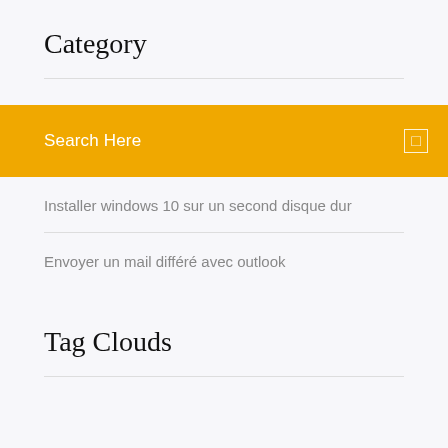Category
Search Here
Installer windows 10 sur un second disque dur
Envoyer un mail différé avec outlook
Tag Clouds